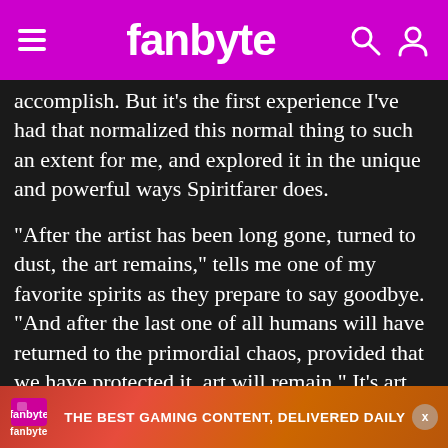fanbyte
accomplish. But it's the first experience I've had that normalized this normal thing to such an extent for me, and explored it in the unique and powerful ways Spiritfarer does.
“After the artist has been long gone, turned to dust, the art remains,” tells me one of my favorite spirits as they prepare to say goodbye. “And after the last one of all humans will have returned to the primordial chaos, provided that we have protected it, art will remain.” It’s art like Spiritfarer that will remain with me for the rest of my life, and
THE BEST GAMING CONTENT, DELIVERED DAILY